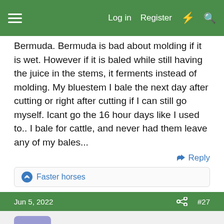Log in  Register
Bermuda. Bermuda is bad about molding if it is wet. However if it is baled while still having the juice in the stems, it ferments instead of molding. My bluestem I bale the next day after cutting or right after cutting if I can still go myself. Icant go the 16 hour days like I used to.. I bale for cattle, and never had them leave any of my bales...
Reply
Faster horses
Jun 5, 2022  #27
Evans
Well-known member
About only way I could hope to put up hay this year is